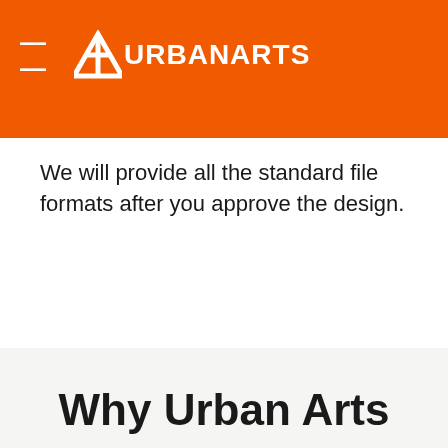≡ URBANARTS
We will provide all the standard file formats after you approve the design.
Why Urban Arts